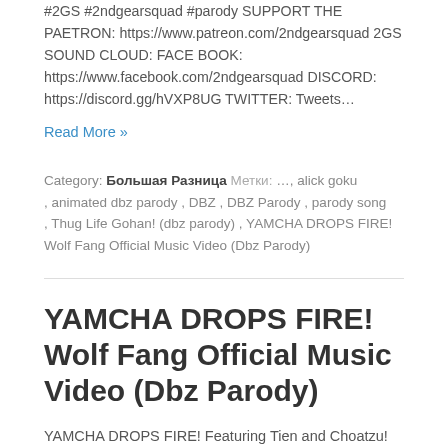#2GS #2ndgearsquad #parody SUPPORT THE PAETRON: https://www.patreon.com/2ndgearsquad 2GS SOUND CLOUD: FACE BOOK: https://www.facebook.com/2ndgearsquad DISCORD: https://discord.gg/hVXP8UG TWITTER: Tweets…
Read More »
Category: Большая Разница Метки: …, alick goku, animated dbz parody, DBZ, DBZ Parody, parody song, Thug Life Gohan! (dbz parody), YAMCHA DROPS FIRE! Wolf Fang Official Music Video (Dbz Parody)
YAMCHA DROPS FIRE! Wolf Fang Official Music Video (Dbz Parody)
YAMCHA DROPS FIRE! Featuring Tien and Choatzu! Wolf